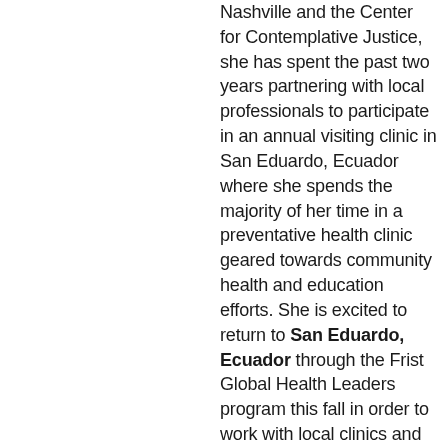Nashville and the Center for Contemplative Justice, she has spent the past two years partnering with local professionals to participate in an annual visiting clinic in San Eduardo, Ecuador where she spends the majority of her time in a preventative health clinic geared towards community health and education efforts. She is excited to return to San Eduardo, Ecuador through the Frist Global Health Leaders program this fall in order to work with local clinics and continue a longitudinal community-based study, focusing on the burden of non-communicable diseases in San